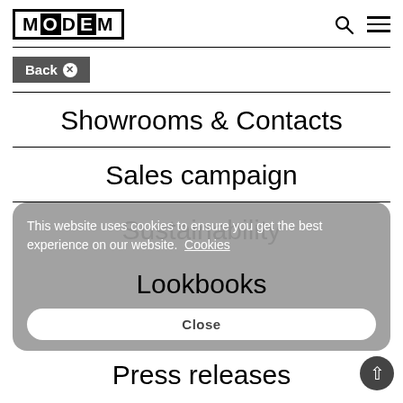MODEM
[Figure (logo): MODEM logo with block letters, search icon, and hamburger menu icon]
Back ✕
Showrooms & Contacts
Sales campaign
Sustainability
Lookbooks
This website uses cookies to ensure you get the best experience on our website. Cookies
Close
Press releases